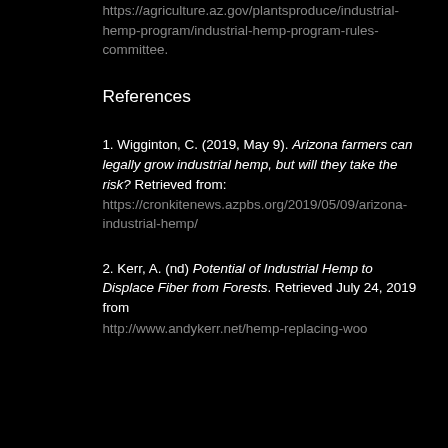https://agriculture.az.gov/plantsproduce/industrial-hemp-program/industrial-hemp-program-rules-committee.
References
1. Wigginton, C. (2019, May 9). Arizona farmers can legally grow industrial hemp, but will they take the risk? Retrieved from: https://cronkitenews.azpbs.org/2019/05/09/arizona-industrial-hemp/
2. Kerr, A. (nd) Potential of Industrial Hemp to Displace Fiber from Forests. Retrieved July 24, 2019 from http://www.andykerr.net/hemp-replacing-woo